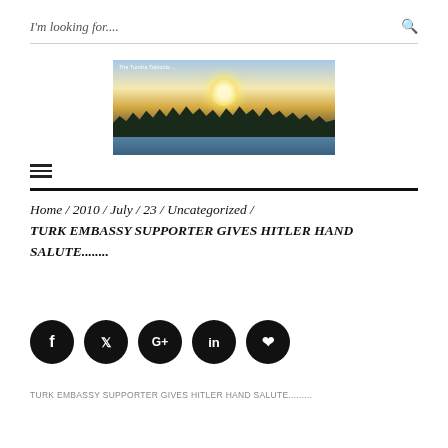I'm looking for....
[Figure (photo): Website header image showing a sunset over a frozen lake with silhouetted treeline and tall grass, with text 'The Tundra Tabloids....']
Home / 2010 / July / 23 / Uncategorized / TURK EMBASSY SUPPORTER GIVES HITLER HAND SALUTE........
[Figure (infographic): Social media share icons: Facebook (f), Twitter (bird), Google+, LinkedIn (in), Pinterest (p) — all black circles with white icons]
TURK EMBASSY SUPPORTER GIVES HITLER HAND SALUTE.........